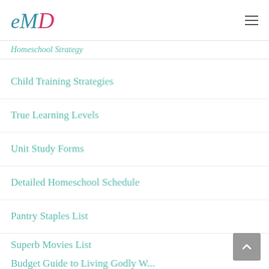eMD logo with hamburger menu
Child Training Strategies
True Learning Levels
Unit Study Forms
Detailed Homeschool Schedule
Pantry Staples List
Superb Movies List
Budget Guide to Living Godly W...